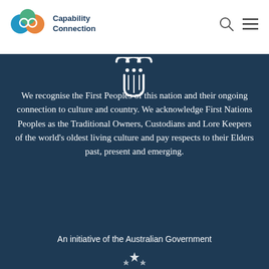[Figure (logo): Capability Connection logo with overlapping circle icons in blue, green, and orange, and text 'Capability Connection']
[Figure (illustration): White Aboriginal/Indigenous style icon symbol on dark blue background]
We recognise the First Peoples of this nation and their ongoing connection to culture and country. We acknowledge First Nations Peoples as the Traditional Owners, Custodians and Lore Keepers of the world's oldest living culture and pay respects to their Elders past, present and emerging.
An initiative of the Australian Government